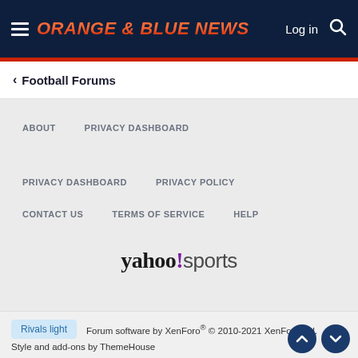ORANGE & BLUE NEWS
< Football Forums
ABOUT
PRIVACY DASHBOARD
PRIVACY DASHBOARD
PRIVACY POLICY
CONTACT US
TERMS OF SERVICE
HELP
[Figure (logo): Yahoo! Sports logo]
Rivals light   Forum software by XenForo® © 2010-2021 XenForo Ltd. Style and add-ons by ThemeHouse